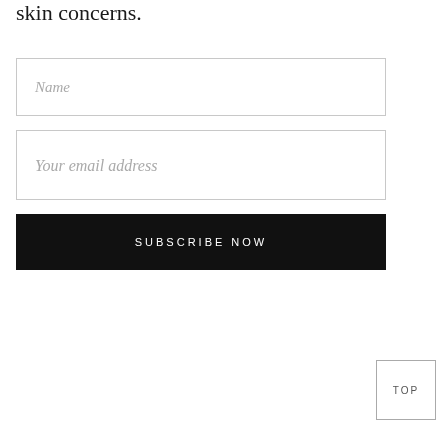skin concerns.
Name
Your email address
SUBSCRIBE NOW
TOP